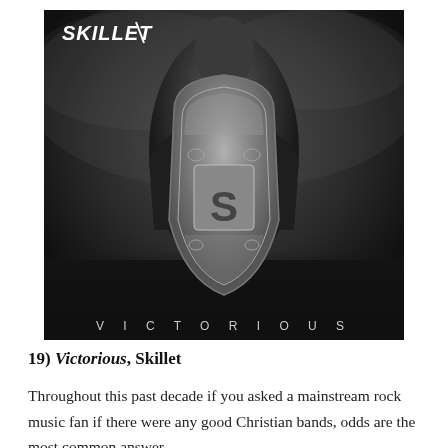[Figure (photo): Album cover of 'Victorious' by Skillet. A bearded man in dark leather armor holds a large ornate shield with an 'S' emblem in the center. The word 'SKILLET' appears in metallic stylized lettering at the top left. At the bottom, the word 'VICTORIOUS' is spelled out in spaced capital letters. The overall tone is dark and dramatic.]
19) Victorious, Skillet
Throughout this past decade if you asked a mainstream rock music fan if there were any good Christian bands, odds are the most common answer